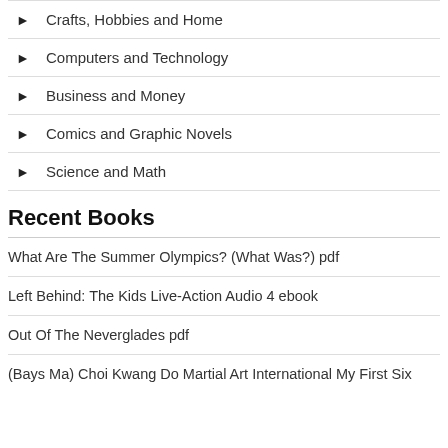Crafts, Hobbies and Home
Computers and Technology
Business and Money
Comics and Graphic Novels
Science and Math
Recent Books
What Are The Summer Olympics? (What Was?) pdf
Left Behind: The Kids Live-Action Audio 4 ebook
Out Of The Neverglades pdf
(Bays Ma) Choi Kwang Do Martial Art International My First Six